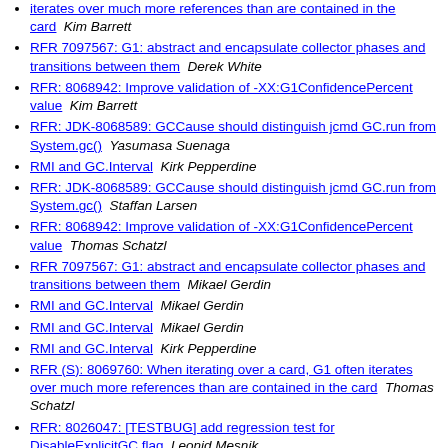iterates over much more references than are contained in the card  Kim Barrett
RFR 7097567: G1: abstract and encapsulate collector phases and transitions between them  Derek White
RFR: 8068942: Improve validation of -XX:G1ConfidencePercent value  Kim Barrett
RFR: JDK-8068589: GCCause should distinguish jcmd GC.run from System.gc()  Yasumasa Suenaga
RMI and GC.Interval  Kirk Pepperdine
RFR: JDK-8068589: GCCause should distinguish jcmd GC.run from System.gc()  Staffan Larsen
RFR: 8068942: Improve validation of -XX:G1ConfidencePercent value  Thomas Schatzl
RFR 7097567: G1: abstract and encapsulate collector phases and transitions between them  Mikael Gerdin
RMI and GC.Interval  Mikael Gerdin
RMI and GC.Interval  Mikael Gerdin
RMI and GC.Interval  Kirk Pepperdine
RFR (S): 8069760: When iterating over a card, G1 often iterates over much more references than are contained in the card  Thomas Schatzl
RFR: 8026047: [TESTBUG] add regression test for DisableExplicitGC flag  Leonid Mesnik
RFR: 8026047: [TESTBUG] add regression test for DisableExplicitGC flag  Michail Chernov
RFR: 8068942: Improve validation of -